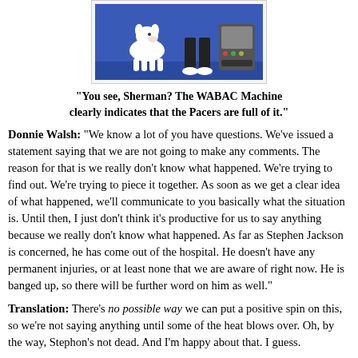[Figure (illustration): Cartoon illustration showing animated characters (a white dog and a person's legs) in front of a blue background with a machine, referencing the WABAC Machine from Rocky and Bullwinkle.]
"You see, Sherman? The WABAC Machine clearly indicates that the Pacers are full of it."
Donnie Walsh: "We know a lot of you have questions. We've issued a statement saying that we are not going to make any comments. The reason for that is we really don't know what happened. We're trying to find out. We're trying to piece it together. As soon as we get a clear idea of what happened, we'll communicate to you basically what the situation is. Until then, I just don't think it's productive for us to say anything because we really don't know what happened. As far as Stephen Jackson is concerned, he has come out of the hospital. He doesn't have any permanent injuries, or at least none that we are aware of right now. He is banged up, so there will be further word on him as well."
Translation: There's no possible way we can put a positive spin on this, so we're not saying anything until some of the heat blows over. Oh, by the way, Stephon's not dead. And I'm happy about that. I guess.